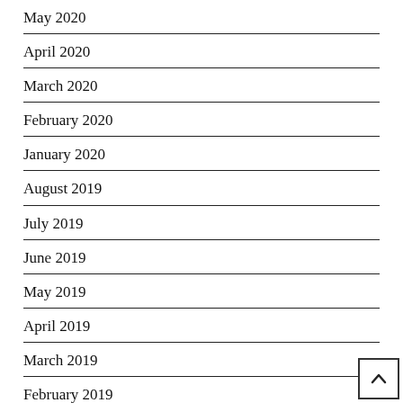May 2020
April 2020
March 2020
February 2020
January 2020
August 2019
July 2019
June 2019
May 2019
April 2019
March 2019
February 2019